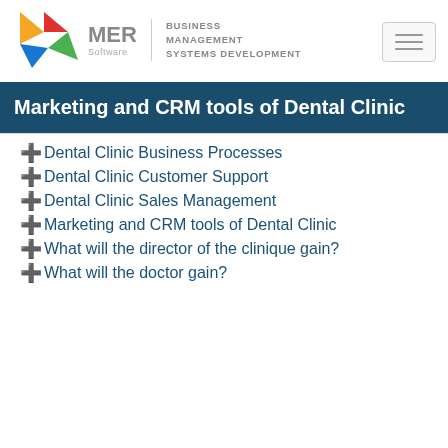[Figure (logo): MER Software logo with colorful triangle shapes and text 'MER Software | BUSINESS MANAGEMENT SYSTEMS DEVELOPMENT']
Marketing and CRM tools of Dental Clinic
Dental Clinic Business Processes
Dental Clinic Customer Support
Dental Clinic Sales Management
Marketing and CRM tools of Dental Clinic
What will the director of the clinique gain?
What will the doctor gain?